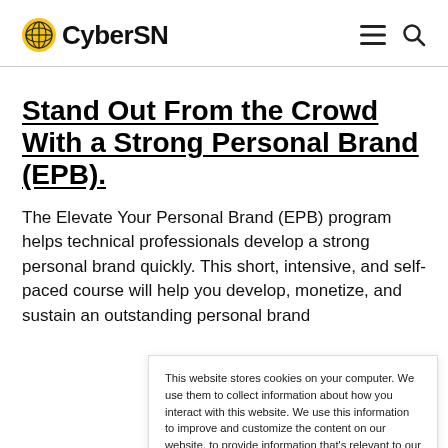CyberSN
Stand Out From the Crowd With a Strong Personal Brand (EPB).
The Elevate Your Personal Brand (EPB) program helps technical professionals develop a strong personal brand quickly. This short, intensive, and self-paced course will help you develop, monetize, and sustain an outstanding personal brand
This website stores cookies on your computer. We use them to collect information about how you interact with this website. We use this information to improve and customize the content on our website, to provide information that's relevant to our visitors, and to analyze our own performance. Privacy Policy